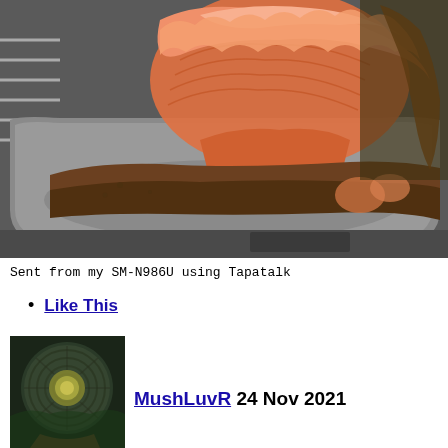[Figure (photo): Pink/orange oyster mushrooms growing in a metal tray on a rack]
Sent from my SM-N986U using Tapatalk
Like This
[Figure (photo): Small round dark mushroom with yellowish center, avatar photo]
MushLuvR 24 Nov 2021